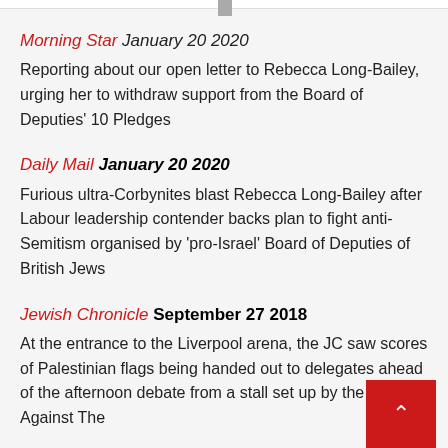Morning Star January 20 2020 — Reporting about our open letter to Rebecca Long-Bailey, urging her to withdraw support from the Board of Deputies' 10 Pledges
Daily Mail January 20 2020 — Furious ultra-Corbynites blast Rebecca Long-Bailey after Labour leadership contender backs plan to fight anti-Semitism organised by 'pro-Israel' Board of Deputies of British Jews
Jewish Chronicle September 27 2018 — At the entrance to the Liverpool arena, the JC saw scores of Palestinian flags being handed out to delegates ahead of the afternoon debate from a stall set up by the Labour Against The